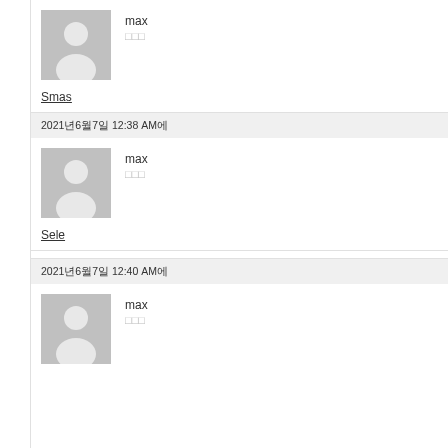[Figure (illustration): Grey placeholder avatar icon (silhouette of person) for user 'max']
max
□□□
Smas
2021年6月7日 12:38 AM에
[Figure (illustration): Grey placeholder avatar icon (silhouette of person) for user 'max']
max
□□□
Sele
2021年6月7日 12:40 AM에
[Figure (illustration): Grey placeholder avatar icon (silhouette of person) for user 'max']
max
□□□